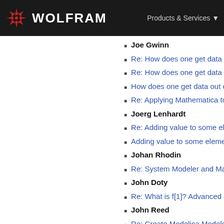WOLFRAM | Products & Services
Joe Gwinn
Re: How does one get data out of a Tem...
Re: How does one get data out of a Tempora...
How does one get data out of a Tempora...
Re: Applying Mathematica to practical p...
Joerg Lenhardt
Re: Adding value to some elements of a...
Adding value to some elements of a list...
Johan Rhodin
Re: System Modeler and Mathematica 9...
John Doty
Re: What is f[1]? Advanced question, Fr...
John Reed
Re: Create Modelica Models within Math...
Jost Adler
Problems with solving integrals in Math...
Joug Raw